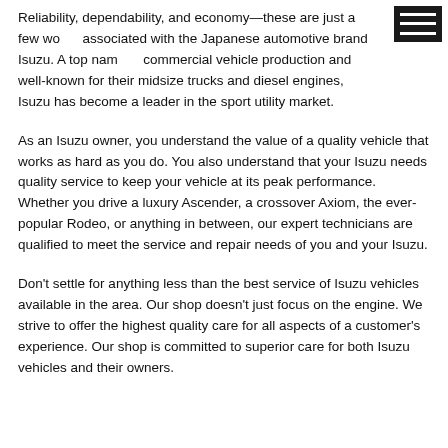Reliability, dependability, and economy—these are just a few words associated with the Japanese automotive brand Isuzu. A top name in commercial vehicle production and well-known for their midsize trucks and diesel engines, Isuzu has become a leader in the sport utility market.
As an Isuzu owner, you understand the value of a quality vehicle that works as hard as you do. You also understand that your Isuzu needs quality service to keep your vehicle at its peak performance. Whether you drive a luxury Ascender, a crossover Axiom, the ever-popular Rodeo, or anything in between, our expert technicians are qualified to meet the service and repair needs of you and your Isuzu.
Don't settle for anything less than the best service of Isuzu vehicles available in the area. Our shop doesn't just focus on the engine. We strive to offer the highest quality care for all aspects of a customer's experience. Our shop is committed to superior care for both Isuzu vehicles and their owners.